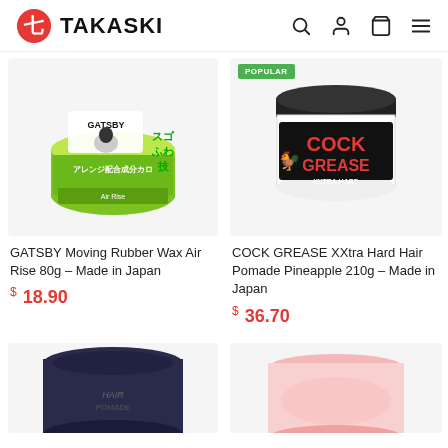TAKASKI
[Figure (photo): GATSBY Moving Rubber Wax Air Rise green container product photo]
[Figure (photo): COCK GREASE XXtra Hard Hair Pomade Pineapple white container with black lid product photo, with POPULAR badge]
GATSBY Moving Rubber Wax Air Rise 80g – Made in Japan
$ 18.90
COCK GREASE XXtra Hard Hair Pomade Pineapple 210g – Made in Japan
$ 36.70
[Figure (photo): Dark/black hair pomade jar product photo (partially visible)]
[Figure (photo): Pink/light colored hair product jar (partially visible)]